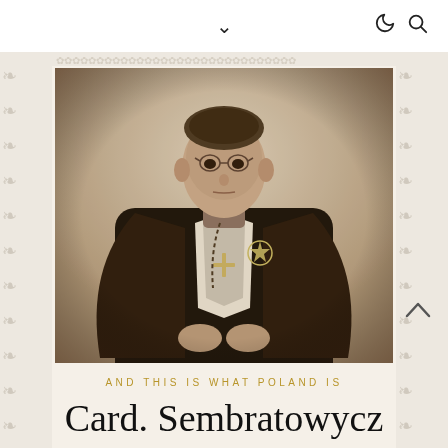[Figure (photo): Black and white historical photograph of Cardinal Sembratowycz in full clerical robes with a cross medallion and decorative vestments, wearing round glasses, formal portrait pose]
AND THIS IS WHAT POLAND IS
Card. Sembratowycz